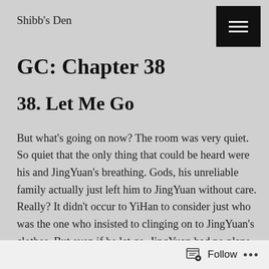Shibb's Den
GC: Chapter 38
38. Let Me Go
But what's going on now? The room was very quiet. So quiet that the only thing that could be heard were his and JingYuan's breathing. Gods, his unreliable family actually just left him to JingYuan without care. Really? It didn't occur to YiHan to consider just who was the one who insisted to clinging on to JingYuan's clothes. But even if he let go, JingYuan had no plans
Follow ...